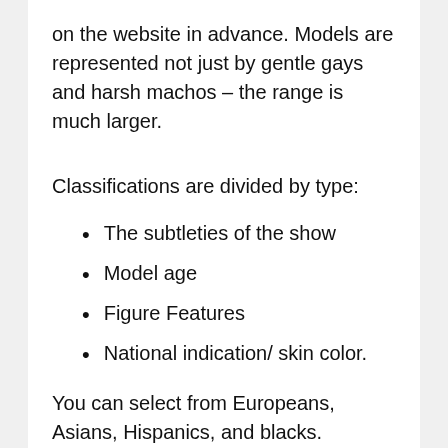on the website in advance. Models are represented not just by gentle gays and harsh machos – the range is much larger.
Classifications are divided by type:
The subtleties of the show
Model age
Figure Features
National indication/ skin color.
You can select from Europeans, Asians, Hispanics, and blacks. Independently